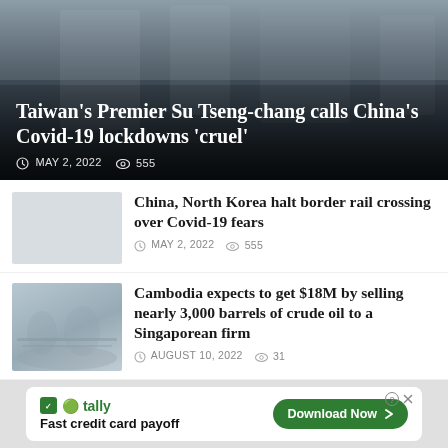[Figure (photo): Hero image of Taiwan Premier news article with dark overlay showing people in background]
Taiwan's Premier Su Tseng-chang calls China's Covid-19 lockdowns 'cruel'
MAY 2, 2022  555
[Figure (photo): Small thumbnail placeholder for China North Korea border rail article]
China, North Korea halt border rail crossing over Covid-19 fears
MAY 2, 2022  555
[Figure (photo): Small thumbnail of misty harbor/port scene for Cambodia oil article]
Cambodia expects to get $18M by selling nearly 3,000 barrels of crude oil to a Singaporean firm
AUGUST 10, 2022  31
[Figure (photo): Small thumbnail placeholder for Metfone Mineski article]
Metfone and Mineski Global Company sign MoU to support eSport in Cambodia
[Figure (other): Advertisement banner: Tally app - Fast credit card payoff - Download Now button]